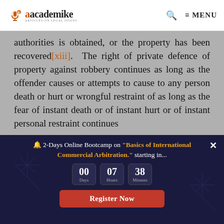academike — MENU
authorities is obtained, or the property has been recovered[xiii]. The right of private defence of property against robbery continues as long as the offender causes or attempts to cause to any person death or hurt or wrongful restraint of as long as the fear of instant death or of instant hurt or of instant personal restraint continues
The right of private defence of property
🔔 2-Days Online Bootcamp on "Basics of International Commercial Arbitration." starting in... 00 Days 07 Hours 38 Minutes — Register Now